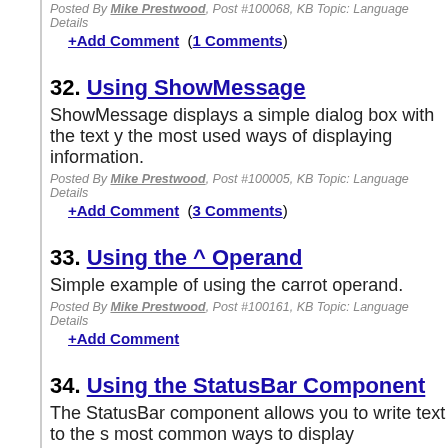Use SetWindowLong to hide your application.
Posted By Mike Prestwood, Post #100068, KB Topic: Language Details
+Add Comment  (1 Comments)
32. Using ShowMessage
ShowMessage displays a simple dialog box with the text y the most used ways of displaying information.
Posted By Mike Prestwood, Post #100005, KB Topic: Language Details
+Add Comment  (3 Comments)
33. Using the ^ Operand
Simple example of using the carrot operand.
Posted By Mike Prestwood, Post #100161, KB Topic: Language Details
+Add Comment
34. Using the StatusBar Component
The StatusBar component allows you to write text to the s most common ways to display information to a user witho
Posted By Mike Prestwood, Post #100008, KB Topic: Language Details
+Add Comment  (1 Comments)